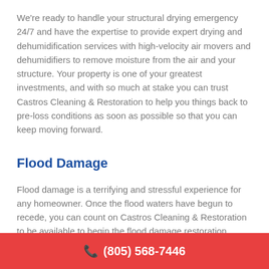We're ready to handle your structural drying emergency 24/7 and have the expertise to provide expert drying and dehumidification services with high-velocity air movers and dehumidifiers to remove moisture from the air and your structure. Your property is one of your greatest investments, and with so much at stake you can trust Castros Cleaning & Restoration to help you things back to pre-loss conditions as soon as possible so that you can keep moving forward.
Flood Damage
Flood damage is a terrifying and stressful experience for any homeowner. Once the flood waters have begun to recede, you can count on Castros Cleaning & Restoration to be available to begin the flood damage restoration
☎ (805) 568-7446